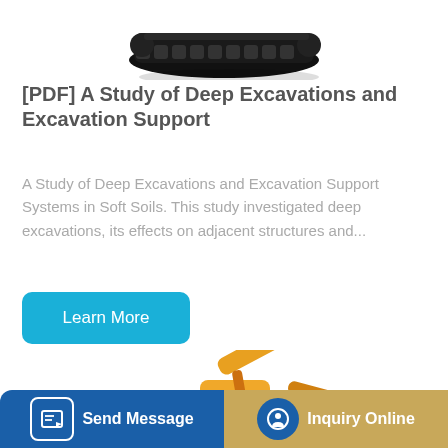[Figure (photo): Black rubber tracked undercarriage of a heavy excavator, viewed from above at an angle, on white background]
[PDF] A Study of Deep Excavations and Excavation Support
A Study of Deep Excavations and Excavation Support Systems in Soft Soils. This study investigated deep excavations, its effects on adjacent structures and...
[Figure (photo): Yellow and orange XCMG brand hydraulic excavator with large bucket arm, on white background]
Send Message | Inquiry Online